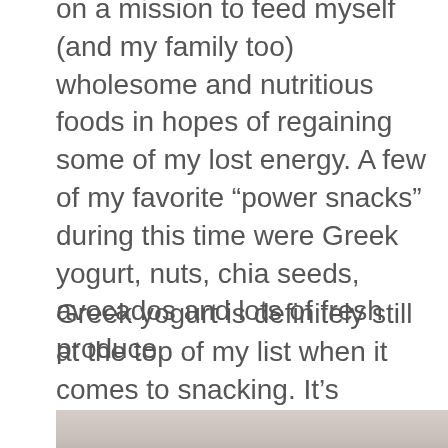on a mission to feed myself (and my family too) wholesome and nutritious foods in hopes of regaining some of my lost energy.  A few of my favorite “power snacks” during this time were Greek yogurt, nuts, chia seeds, avocados and lots of fresh produce.
Greek yogurt is definitely still at the top of my list when it comes to snacking.  It’s packed full of healthy fats, protein and probiotics – I just can’t get enough.
[Figure (photo): Bottom portion of a photo showing what appears to be a bowl or dish, partially visible at the bottom of the page.]